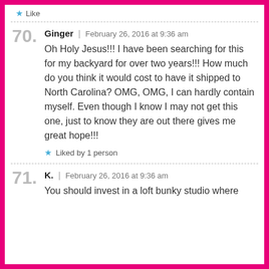Like
70.
Ginger | February 26, 2016 at 9:36 am
Oh Holy Jesus!!! I have been searching for this for my backyard for over two years!!! How much do you think it would cost to have it shipped to North Carolina? OMG, OMG, I can hardly contain myself. Even though I know I may not get this one, just to know they are out there gives me great hope!!!
Liked by 1 person
71.
K. | February 26, 2016 at 9:36 am
You should invest in a loft bunky studio where